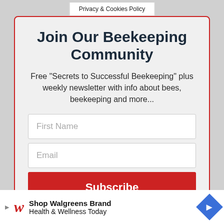Privacy & Cookies Policy
Join Our Beekeeping Community
Free "Secrets to Successful Beekeeping" plus weekly newsletter with info about bees, beekeeping and more...
First Name
Email
Subscribe
By subscribing, I consent to receiving emails.
[Figure (infographic): Walgreens advertisement banner: Shop Walgreens Brand Health & Wellness Today]